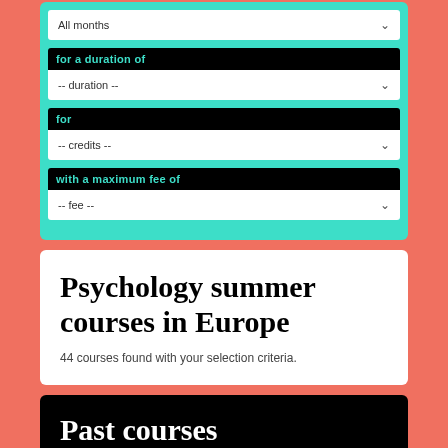for a duration of
-- duration --
for
-- credits --
with a maximum fee of
-- fee --
Psychology summer courses in Europe
44 courses found with your selection criteria.
Past courses